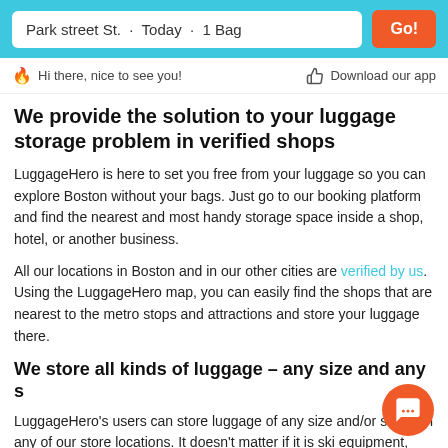[Figure (screenshot): Search bar showing 'Park street St. · Today · 1 Bag' with an orange 'Go!' button on a teal background header]
🔥 Hi there, nice to see you!   👍 Download our app
We provide the solution to your luggage storage problem in verified shops
LuggageHero is here to set you free from your luggage so you can explore Boston without your bags. Just go to our booking platform and find the nearest and most handy storage space inside a shop, hotel, or another business.
All our locations in Boston and in our other cities are verified by us. Using the LuggageHero map, you can easily find the shops that are nearest to the metro stops and attractions and store your luggage there.
We store all kinds of luggage – any size and any shape
LuggageHero's users can store luggage of any size and/or shape in any of our store locations. It doesn't matter if it is ski equipment,